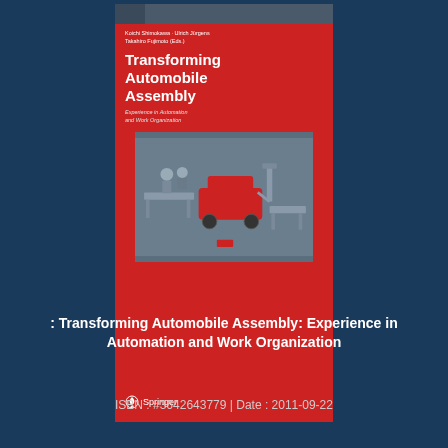[Figure (illustration): Book cover of 'Transforming Automobile Assembly: Experience in Automation and Work Organization' published by Springer, edited by Koichi Shimokawa, Ulrich Jürgens, Takahiro Fujimoto. Red cover with an illustration of assembly robots and workers.]
: Transforming Automobile Assembly: Experience in Automation and Work Organization
ISBN : #3642643779 | Date : 2011-09-22